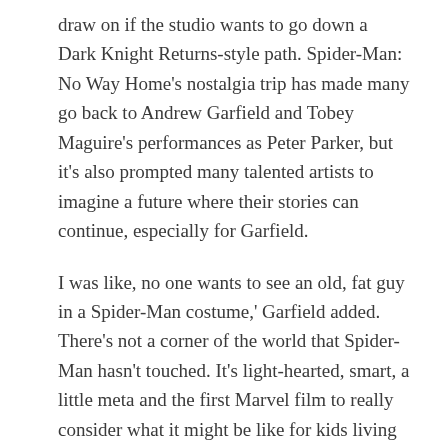draw on if the studio wants to go down a Dark Knight Returns-style path. Spider-Man: No Way Home's nostalgia trip has made many go back to Andrew Garfield and Tobey Maguire's performances as Peter Parker, but it's also prompted many talented artists to imagine a future where their stories can continue, especially for Garfield.
I was like, no one wants to see an old, fat guy in a Spider-Man costume,' Garfield added. There's not a corner of the world that Spider-Man hasn't touched. It's light-hearted, smart, a little meta and the first Marvel film to really consider what it might be like for kids living in a world where superheroes are real. From first person shooters to open world RPGs, as well as family friendly games, there is a wide offering of video games to entertain young and adult gamers. In the Raimi era, the creative team made the gutsy call of giving Peter Parker organic web shooters in his wrists, eliminating the need for us to watch him